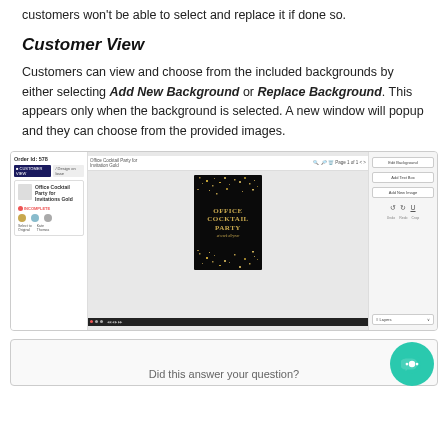customers won't be able to select and replace it if done so.
Customer View
Customers can view and choose from the included backgrounds by either selecting Add New Background or Replace Background. This appears only when the background is selected. A new window will popup and they can choose from the provided images.
[Figure (screenshot): Screenshot of a customer-facing design editor showing an Office Cocktail Party invitation on a dark background with gold text and sparkles, with order management panels on left and right.]
[Figure (screenshot): Partial view of a feedback or help section at the bottom of the page.]